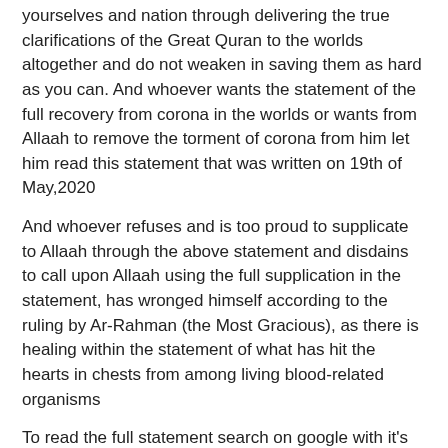yourselves and nation through delivering the true clarifications of the Great Quran to the worlds altogether and do not weaken in saving them as hard as you can. And whoever wants the statement of the full recovery from corona in the worlds or wants from Allaah to remove the torment of corona from him let him read this statement that was written on 19th of May,2020
And whoever refuses and is too proud to supplicate to Allaah through the above statement and disdains to call upon Allaah using the full supplication in the statement, has wronged himself according to the ruling by Ar-Rahman (the Most Gracious), as there is healing within the statement of what has hit the hearts in chests from among living blood-related organisms
To read the full statement search on google with it's title then click on the link of the official web site for al imam al mahdi (Nasser Mohammed Al-Yemeni).
Reply